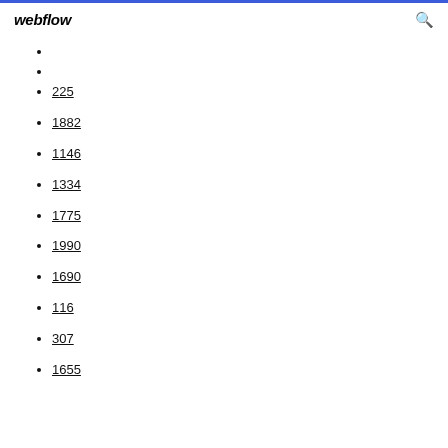webflow
225
1882
1146
1334
1775
1990
1690
116
307
1655